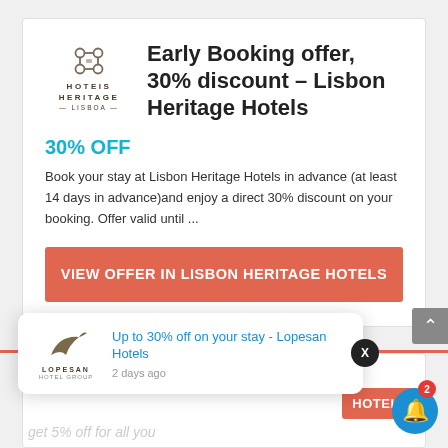[Figure (logo): Hoteis Heritage Lisboa logo with decorative icon]
Early Booking offer, 30% discount – Lisbon Heritage Hotels
30% OFF
Book your stay at Lisbon Heritage Hotels in advance (at least 14 days in advance)and enjoy a direct 30% discount on your booking. Offer valid until ...
VIEW OFFER IN LISBON HERITAGE HOTELS
40% OFF
[Figure (logo): Lopesan Hotel Group logo with bird icon]
Up to 30% off on your stay - Lopesan Hotels
2 days ago
HOTELS
get 5% off for all you